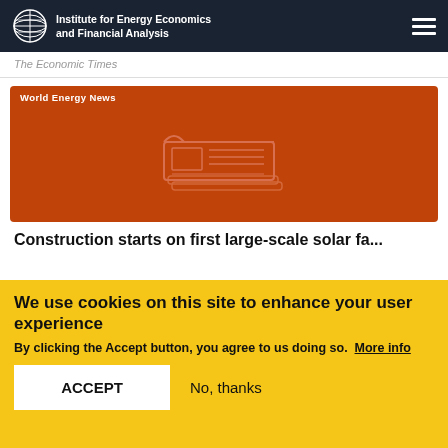Institute for Energy Economics and Financial Analysis
The Economic Times
[Figure (illustration): World Energy News card with orange/red background and a newspaper icon illustration in the center]
Construction starts on first large-scale solar fa...
We use cookies on this site to enhance your user experience By clicking the Accept button, you agree to us doing so. More info
ACCEPT   No, thanks